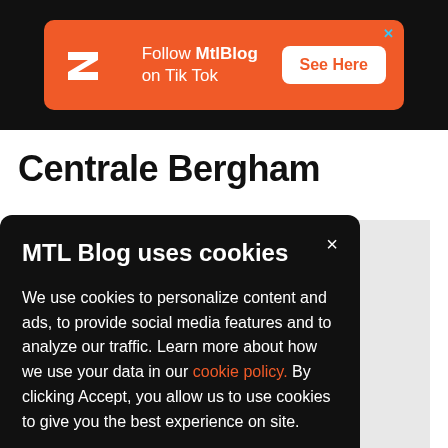[Figure (infographic): Orange advertisement banner on black background: MTL Blog logo (stylized Z), text 'Follow MtlBlog on Tik Tok', and white button 'See Here'. Blue X close button in top right.]
Centrale Bergham
MTL Blog uses cookies

We use cookies to personalize content and ads, to provide social media features and to analyze our traffic. Learn more about how we use your data in our cookie policy. By clicking Accept, you allow us to use cookies to give you the best experience on site.

[Accept button]